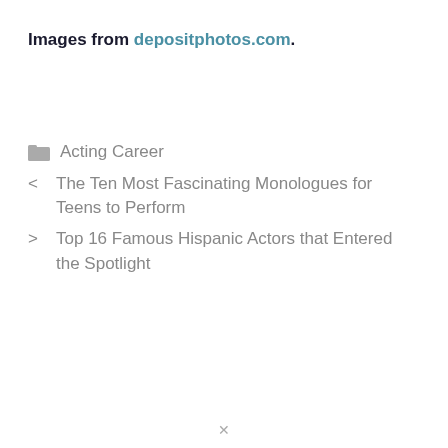Images from depositphotos.com.
Acting Career
< The Ten Most Fascinating Monologues for Teens to Perform
> Top 16 Famous Hispanic Actors that Entered the Spotlight
×